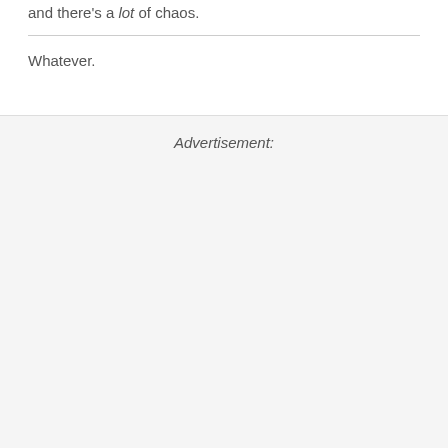and there's a lot of chaos.
Whatever.
Advertisement: